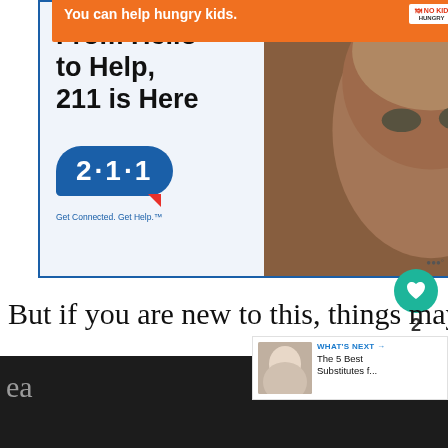[Figure (infographic): 211 helpline advertisement banner. Left side shows text 'From Hello to Help, 211 is Here' with a blue speech bubble containing '2·1·1' and tagline 'Get Connected. Get Help.' Right side shows close-up photo of elderly man's face.]
But if you are new to this, things may g
a bit frustrating to keep track of what to
[Figure (infographic): What's Next panel showing thumbnail image and text 'WHAT'S NEXT → The 5 Best Substitutes f...']
ea
[Figure (infographic): Orange advertisement banner at bottom: 'You can help hungry kids.' with No Kid Hungry logo and 'LEARN HOW' button]